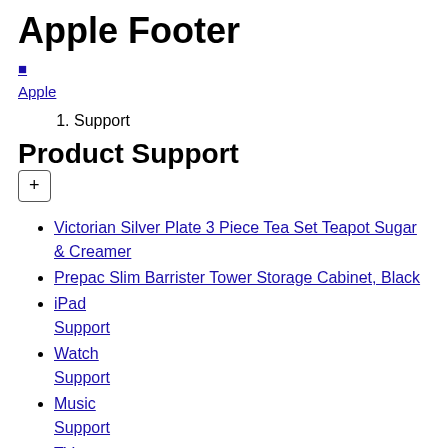Apple Footer
🍎
Apple
1. Support
Product Support
+
Victorian Silver Plate 3 Piece Tea Set Teapot Sugar & Creamer
Prepac Slim Barrister Tower Storage Cabinet, Black
iPad
Support
Watch
Support
Music
Support
TV
Support
LeMans Mclaren Goodyear Racing Car Friction Powered 29120 Asst